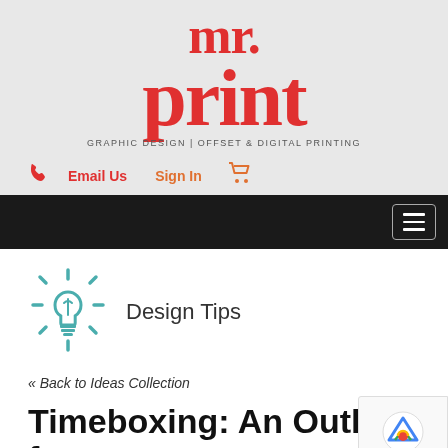[Figure (logo): Mr. Print logo with large red serif text 'mr. print' and tagline 'GRAPHIC DESIGN | OFFSET & DIGITAL PRINTING']
Email Us  Sign In  [cart icon]
[hamburger menu button]
[Figure (illustration): Teal lightbulb icon with rays representing Design Tips]
Design Tips
« Back to Ideas Collection
Timeboxing: An Outline fo